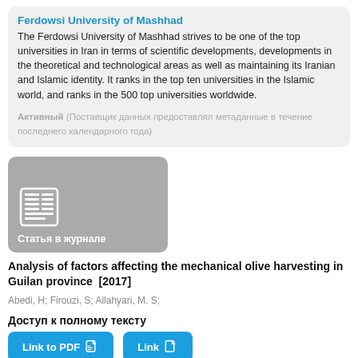Ferdowsi University of Mashhad
The Ferdowsi University of Mashhad strives to be one of the top universities in Iran in terms of scientific developments, developments in the theoretical and technological areas as well as maintaining its Iranian and Islamic identity. It ranks in the top ten universities in the Islamic world, and ranks in the 500 top universities worldwide.
Активный (Поставщик данных предоставлял метаданные в течение последнего календарного года)
[Figure (screenshot): Gray card with newspaper/article icon and label 'Статья в журнале' (Journal article)]
Analysis of factors affecting the mechanical olive harvesting in Guilan province [2017]
Abedi, H; Firouzi, S; Allahyari, M. S;
Доступ к полному тексту
Link to PDF  Link